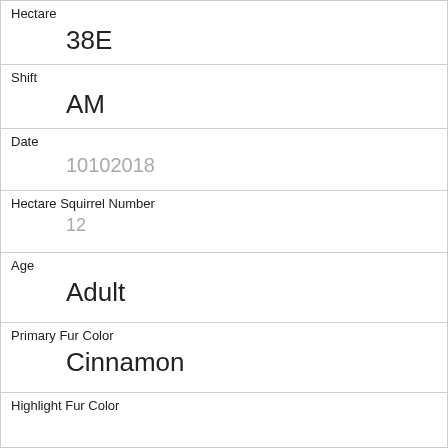| Field | Value |
| --- | --- |
| Hectare | 38E |
| Shift | AM |
| Date | 10102018 |
| Hectare Squirrel Number | 12 |
| Age | Adult |
| Primary Fur Color | Cinnamon |
| Highlight Fur Color |  |
| Combination of Primary and Highlight Color | Cinnamon+ |
| Color notes |  |
| Location | Ground Plane |